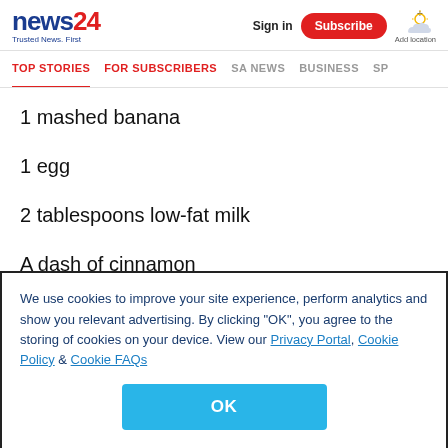news24 - Trusted News. First
TOP STORIES | FOR SUBSCRIBERS | SA NEWS | BUSINESS | SP
1 mashed banana
1 egg
2 tablespoons low-fat milk
A dash of cinnamon
We use cookies to improve your site experience, perform analytics and show you relevant advertising. By clicking "OK", you agree to the storing of cookies on your device. View our Privacy Portal, Cookie Policy & Cookie FAQs
OK